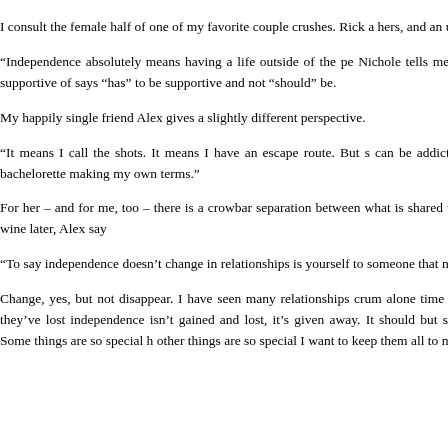a bad word.
I consult the female half of one of my favorite couple crushes. Rick a hers, and an us.
“Independence absolutely means having a life outside of the pe Nichole tells me. “And that other person has to be supportive of says “has” to be supportive and not “should” be.
My happily single friend Alex gives a slightly different perspective.
“It means I call the shots. It means I have an escape route. But s can be addictive. I’ve become a bachelor,” this bachelorette making my own terms.”
For her – and for me, too – there is a crowbar separation between what is shared with other people. A few glasses of wine later, Alex say
“To say independence doesn’t change in relationships is yourself to someone that much, it has to change.”
Change, yes, but not disappear. I have seen many relationships crum alone time is built in. People tend to feel like they’ve lost independence isn’t gained and lost, it’s given away. It should but some things should be kept sacred. Some things are so special h other things are so special I want to keep them all to myself.